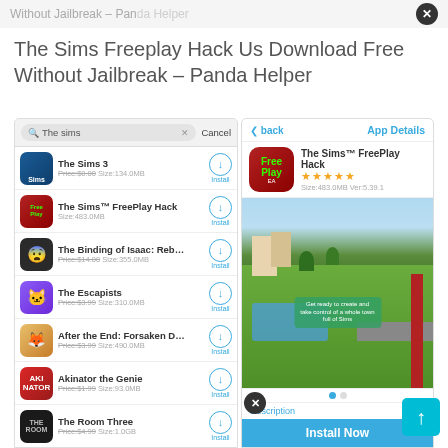Without Jailbreak – Panda Helper
The Sims Freeplay Hack Us Download Free Without Jailbreak – Panda Helper
[Figure (screenshot): Screenshot of Panda Helper app store showing The Sims search results on left panel and The Sims FreePlay Hack app detail on right panel with Install Now button]